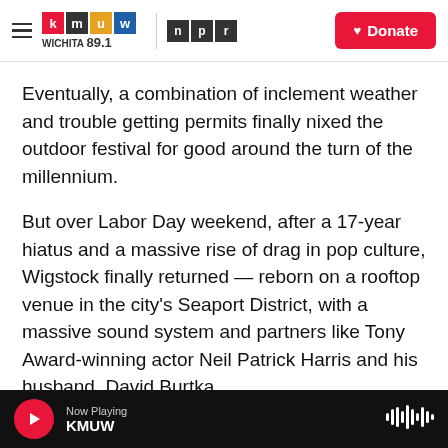[Figure (logo): KMUW Wichita 89.1 and NPR logos with hamburger menu and Donate button in header]
Eventually, a combination of inclement weather and trouble getting permits finally nixed the outdoor festival for good around the turn of the millennium.
But over Labor Day weekend, after a 17-year hiatus and a massive rise of drag in pop culture, Wigstock finally returned — reborn on a rooftop venue in the city's Seaport District, with a massive sound system and partners like Tony Award-winning actor Neil Patrick Harris and his husband, David Burtka.
But despite the new veneers, Lady Bunny — the
Now Playing KMUW